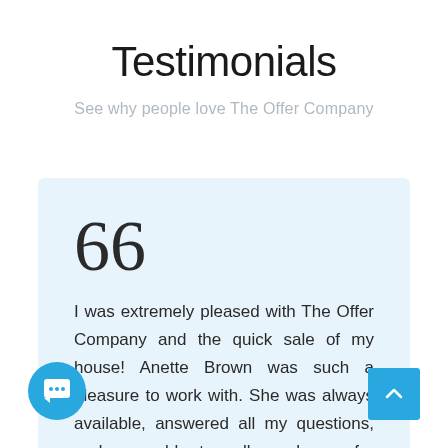Testimonials
See why people love The Offer Company
““
I was extremely pleased with The Offer Company and the quick sale of my house! Anette Brown was such a pleasure to work with. She was always available, answered all my questions, and was able to sell my house for substantially more than I thought it would! I would definitely recommend